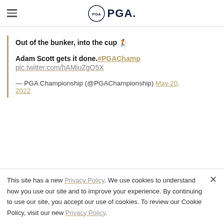PGA
Out of the bunker, into the cup 🏌
Adam Scott gets it done.#PGAChamp
pic.twitter.com/hAMiuZgO5X
— PGA Championship (@PGAChampionship) May 20, 2022
This site has a new Privacy Policy. We use cookies to understand how you use our site and to improve your experience. By continuing to use our site, you accept our use of cookies. To review our Cookie Policy, visit our new Privacy Policy.